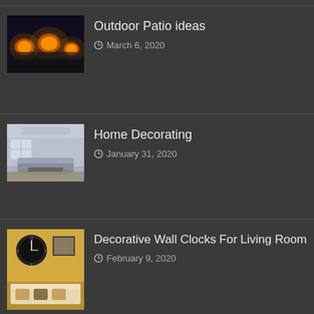[Figure (photo): Thumbnail image for Outdoor Patio Ideas article - outdoor patio with Halloween pumpkins lit up at night]
Outdoor Patio ideas
March 6, 2020
[Figure (photo): Thumbnail image for Home Decorating article - modern living room interior]
Home Decorating
January 31, 2020
[Figure (photo): Thumbnail image for Decorative Wall Clocks For Living Room article - living room with decorative wall clock]
Decorative Wall Clocks For Living Room
February 9, 2020
[Figure (screenshot): Advertisement for Lidl: Suspiciously Low Prices with Lidl logo]
Suspiciously Low Prices
Lidl